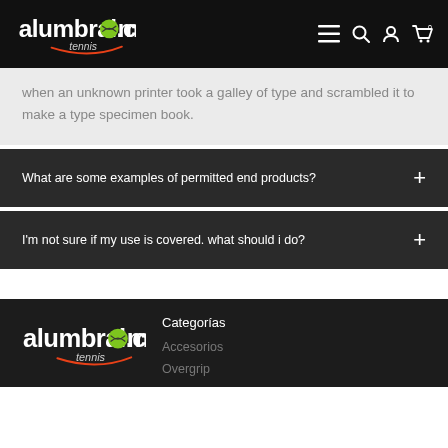alumbral.com tennis
when an unknown printer took a galley of type and scrambled it to make a type specimen book.
What are some examples of permitted end products?
I'm not sure if my use is covered. what should i do?
alumbral.com tennis — Categorías — Accesorios — Overgrip